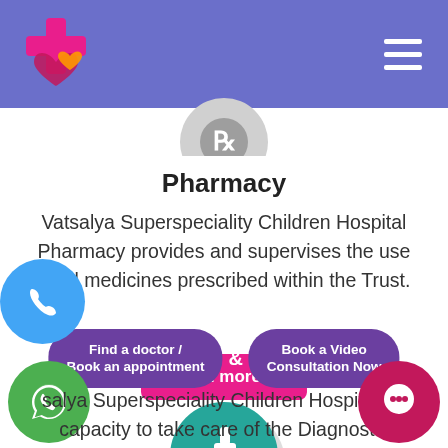Vatsalya Superspeciality Children Hospital - Navigation Header
[Figure (logo): Vatsalya hospital logo with cross and heart icon in pink/magenta on left, hamburger menu icon on right, purple/periwinkle background header bar]
[Figure (illustration): Circular grey icon with pharmacy symbol (partially visible at top of content area)]
Pharmacy
Vatsalya Superspeciality Children Hospital Pharmacy provides and supervises the use of all medicines prescribed within the Trust.
Read more...
[Figure (illustration): Teal/green circle with white microscope icon, with drop shadow]
Find a doctor / Book an appointment & Book a Video Consultation Now
salya Superspeciality Children Hospital ha capacity to take care of the Diagnostic
[Figure (illustration): Blue circle with white phone icon (bottom left)]
[Figure (illustration): Green circle with white WhatsApp icon (bottom left lower)]
[Figure (illustration): Dark pink/crimson circle with white chat bubble icon (bottom right)]